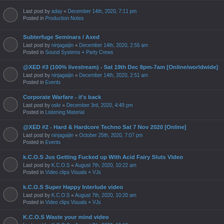Last post by aday « December 14th, 2020, 7:11 pm
Posted in Production Notes
Subterfuge Seminars / Axed
Last post by ninjagaijin « December 14th, 2020, 2:55 am
Posted in Sound Systems + Party Crews
@XED #3 (100% livestream) - Sat 19th Dec 8pm-7am [Online/worldwide]
Last post by ninjagaijin « December 14th, 2020, 2:51 am
Posted in Events
Corporate Warfare - it's back
Last post by oskr « December 3rd, 2020, 4:49 pm
Posted in Listening Material
@XED #2 - Hard & Hardcore Techno Sat 7 Nov 2020 [Online]
Last post by ninjagaijin « October 25th, 2020, 7:07 pm
Posted in Events
k.C.O.S Jus Getting Fucked up With Acid Fairy Sluts Video
Last post by K.C.O.S « August 7th, 2020, 10:22 am
Posted in Video clips Visuals + VJs
k.C.O.S Super Happy Interlude video
Last post by K.C.O.S « August 7th, 2020, 10:20 am
Posted in Video clips Visuals + VJs
K.C.O.S Waste your mind video
Last post by K.C.O.S « August 7th, 2020, 10:19 am
Posted in Video clips Visuals + VJs
Pagination footer icons